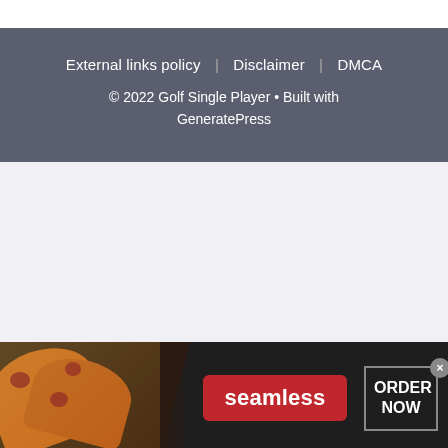External links policy  Disclaimer  DMCA
© 2022 Golf Single Player • Built with GeneratePress
[Figure (infographic): Seamless food delivery advertisement banner. Left side shows pizza slices on dark background. Center has red 'seamless' logo button. Right side has 'ORDER NOW' button in white text with grey border. Small grey close (×) button in top-right corner.]